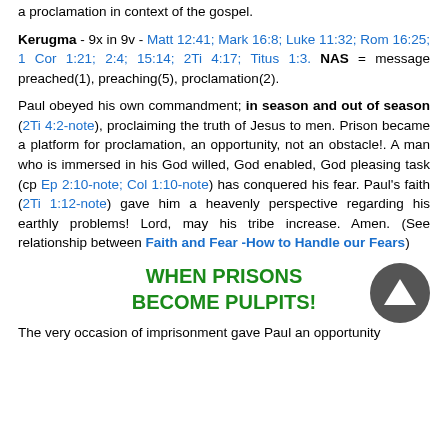a proclamation in context of the gospel.
Kerugma - 9x in 9v - Matt 12:41; Mark 16:8; Luke 11:32; Rom 16:25; 1 Cor 1:21; 2:4; 15:14; 2Ti 4:17; Titus 1:3. NAS = message preached(1), preaching(5), proclamation(2).
Paul obeyed his own commandment; in season and out of season (2Ti 4:2-note), proclaiming the truth of Jesus to men. Prison became a platform for proclamation, an opportunity, not an obstacle!. A man who is immersed in his God willed, God enabled, God pleasing task (cp Ep 2:10-note; Col 1:10-note) has conquered his fear. Paul's faith (2Ti 1:12-note) gave him a heavenly perspective regarding his earthly problems! Lord, may his tribe increase. Amen. (See relationship between Faith and Fear -How to Handle our Fears)
WHEN PRISONS BECOME PULPITS!
The very occasion of imprisonment gave Paul an opportunity